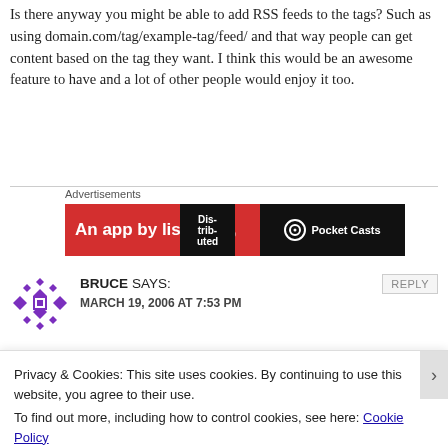Is there anyway you might be able to add RSS feeds to the tags? Such as using domain.com/tag/example-tag/feed/ and that way people can get content based on the tag they want. I think this would be an awesome feature to have and a lot of other people would enjoy it too.
[Figure (screenshot): Advertisement banner for Pocket Casts app — red background with text 'An app by listeners,' and dark panel with Pocket Casts logo on right]
BRUCE SAYS:
MARCH 19, 2006 AT 7:53 PM
Privacy & Cookies: This site uses cookies. By continuing to use this website, you agree to their use.
To find out more, including how to control cookies, see here: Cookie Policy